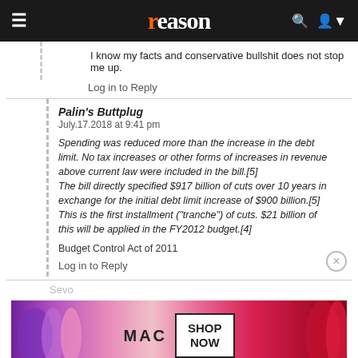reason
I know my facts and conservative bullshit does not stop me up.
Log in to Reply
Palin's Buttplug
July.17.2018 at 9:41 pm
Spending was reduced more than the increase in the debt limit. No tax increases or other forms of increases in revenue above current law were included in the bill.[5]
The bill directly specified $917 billion of cuts over 10 years in exchange for the initial debt limit increase of $900 billion.[5]
This is the first installment ("tranche") of cuts. $21 billion of this will be applied in the FY2012 budget.[4]
Budget Control Act of 2011
Log in to Reply
Sevo
[Figure (photo): MAC Cosmetics advertisement banner showing lipstick products in purple, pink, and red colors with MAC logo and SHOP NOW button]
Budget Control Act of 2011, the largest spending cuts in history)...